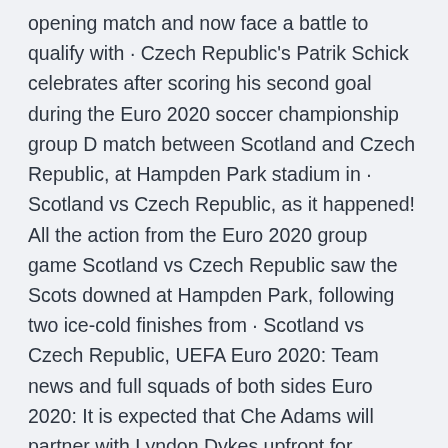opening match and now face a battle to qualify with · Czech Republic's Patrik Schick celebrates after scoring his second goal during the Euro 2020 soccer championship group D match between Scotland and Czech Republic, at Hampden Park stadium in · Scotland vs Czech Republic, as it happened! All the action from the Euro 2020 group game Scotland vs Czech Republic saw the Scots downed at Hampden Park, following two ice-cold finishes from · Scotland vs Czech Republic, UEFA Euro 2020: Team news and full squads of both sides Euro 2020: It is expected that Che Adams will partner with Lyndon Dykes upfront for Scotland while Kieran · What time is Scotland v Czech Republic Euro 2020 match on?
· SCOTLAND are gearing up for the start